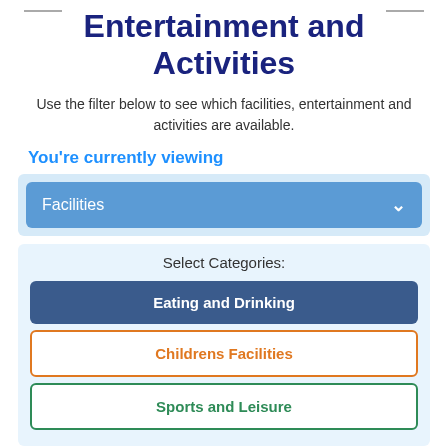Entertainment and Activities
Use the filter below to see which facilities, entertainment and activities are available.
You're currently viewing
[Figure (screenshot): Dropdown selector button labeled 'Facilities' with a chevron/down arrow icon on the right, styled with a blue background.]
Select Categories:
Eating and Drinking
Childrens Facilities
Sports and Leisure